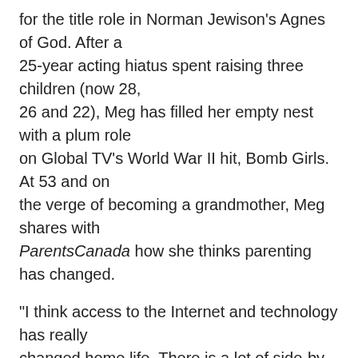for the title role in Norman Jewison's Agnes of God. After a 25-year acting hiatus spent raising three children (now 28, 26 and 22), Meg has filled her empty nest with a plum role on Global TV's World War II hit, Bomb Girls. At 53 and on the verge of becoming a grandmother, Meg shares with ParentsCanada how she thinks parenting has changed.
"I think access to the Internet and technology has really changed home life. There is a lot of side-by-side play where we might be together, but we're not interacting. When my children